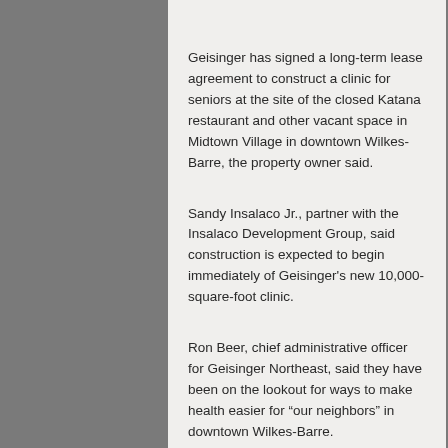Geisinger has signed a long-term lease agreement to construct a clinic for seniors at the site of the closed Katana restaurant and other vacant space in Midtown Village in downtown Wilkes-Barre, the property owner said.
Sandy Insalaco Jr., partner with the Insalaco Development Group, said construction is expected to begin immediately of Geisinger's new 10,000-square-foot clinic.
Ron Beer, chief administrative officer for Geisinger Northeast, said they have been on the lookout for ways to make health easier for “our neighbors” in downtown Wilkes-Barre.
He said Friday that plans are in motion to bring a Geisinger 65 Forward Health Center to 41 S. Main St. in Midtown Village...